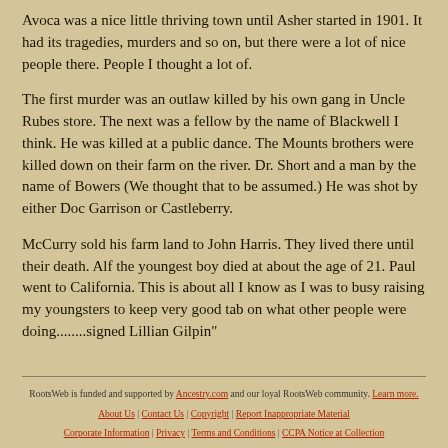Avoca was a nice little thriving town until Asher started in 1901. It had its tragedies, murders and so on, but there were a lot of nice people there. People I thought a lot of.
The first murder was an outlaw killed by his own gang in Uncle Rubes store. The next was a fellow by the name of Blackwell I think. He was killed at a public dance. The Mounts brothers were killed down on their farm on the river. Dr. Short and a man by the name of Bowers (We thought that to be assumed.) He was shot by either Doc Garrison or Castleberry.
McCurry sold his farm land to John Harris. They lived there until their death. Alf the youngest boy died at about the age of 21. Paul went to California. This is about all I know as I was to busy raising my youngsters to keep very good tab on what other people were doing........signed Lillian Gilpin"
RootsWeb is funded and supported by Ancestry.com and our loyal RootsWeb community. Learn more.
About Us | Contact Us | Copyright | Report Inappropriate Material
Corporate Information | Privacy | Terms and Conditions | CCPA Notice at Collection